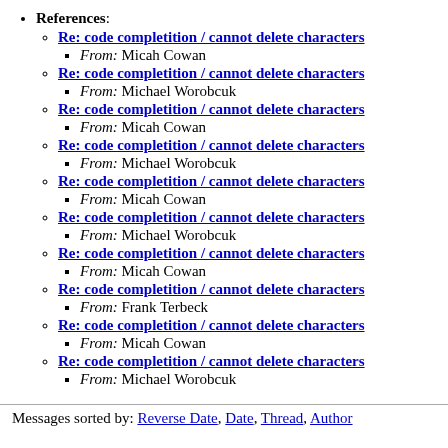References:
Re: code completition / cannot delete characters — From: Micah Cowan
Re: code completition / cannot delete characters — From: Michael Worobcuk
Re: code completition / cannot delete characters — From: Micah Cowan
Re: code completition / cannot delete characters — From: Michael Worobcuk
Re: code completition / cannot delete characters — From: Micah Cowan
Re: code completition / cannot delete characters — From: Michael Worobcuk
Re: code completition / cannot delete characters — From: Micah Cowan
Re: code completition / cannot delete characters — From: Frank Terbeck
Re: code completition / cannot delete characters — From: Micah Cowan
Re: code completition / cannot delete characters — From: Michael Worobcuk
Messages sorted by: Reverse Date, Date, Thread, Author